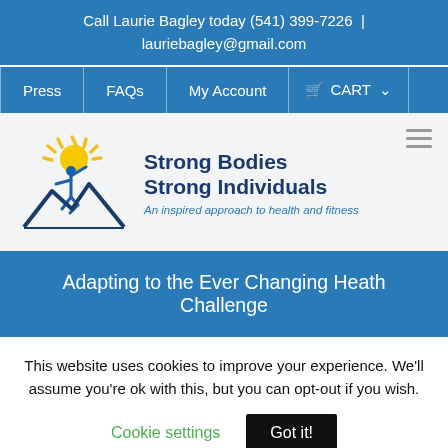Call Laurie Bagley today (541) 399-7226  |  lauriebagley@gmail.com
Press | FAQs | My Account | CART
[Figure (logo): Strong Bodies Strong Individuals logo: figure with sun rays above mountain, text 'Strong Bodies Strong Individuals - An inspired approach to health and fitness']
Adapting to the Ever Changing Heath Challenge
This website uses cookies to improve your experience. We'll assume you're ok with this, but you can opt-out if you wish.
Cookie settings   Got it!